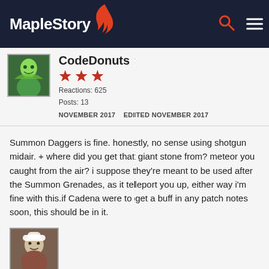MapleStory
CodeDonuts
Reactions: 625
Posts: 13
NOVEMBER 2017   EDITED NOVEMBER 2017
Summon Daggers is fine. honestly, no sense using shotgun midair. + where did you get that giant stone from? meteor you caught from the air? i suppose they're meant to be used after the Summon Grenades, as it teleport you up, either way i'm fine with this.if Cadena were to get a buff in any patch notes soon, this should be in it.
[Figure (photo): User avatar thumbnail of a character with white hat and red accents]
Member